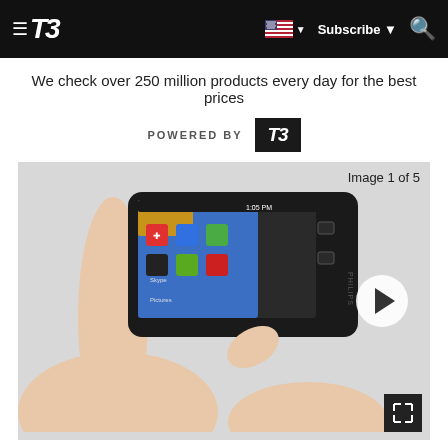T3 — Subscribe — Search
We check over 250 million products every day for the best prices
POWERED BY T3
[Figure (photo): Hands holding a Philips Android touchscreen device/smartphone showing home screen with apps including Skype, YouTube, Audible, Browser, and others. Image 1 of 5. Play button and expand icon overlaid.]